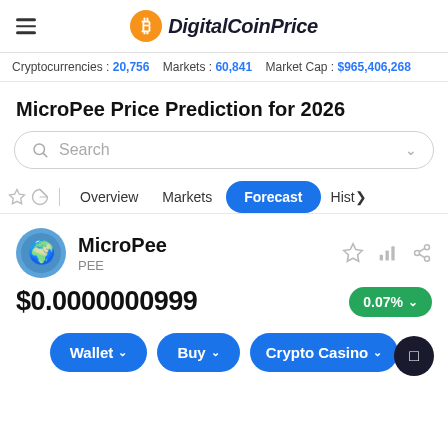DigitalCoinPrice
Cryptocurrencies : 20,756   Markets : 60,841   Market Cap : $965,406,268
MicroPee Price Prediction for 2026
Search
Overview   Markets   Forecast   Hist>
MicroPee PEE
$0.0000000999
0.07%
Wallet   Buy   Crypto Casino